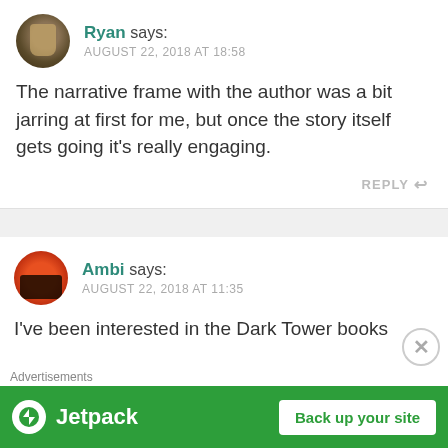Ryan says:
AUGUST 22, 2018 AT 18:58
The narrative frame with the author was a bit jarring at first for me, but once the story itself gets going it's really engaging.
REPLY
Ambi says:
AUGUST 22, 2018 AT 11:35
I've been interested in the Dark Tower books
Advertisements
[Figure (screenshot): Jetpack advertisement banner with 'Back up your site' button on green background]